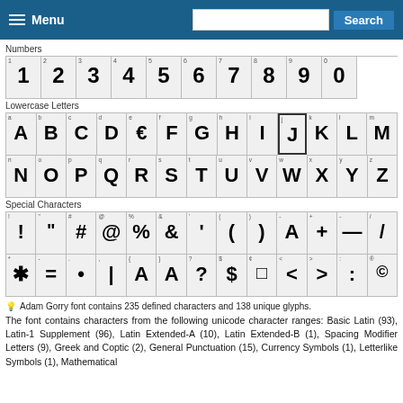Menu | Search
Numbers
[Figure (other): Grid of number glyphs 1-0 in decorative dotted font style]
Lowercase Letters
[Figure (other): Grid of lowercase letter glyphs a-m and n-z in decorative dotted font style]
Special Characters
[Figure (other): Grid of special character glyphs in decorative dotted font style]
Adam Gorry font contains 235 defined characters and 138 unique glyphs.
The font contains characters from the following unicode character ranges: Basic Latin (93), Latin-1 Supplement (96), Latin Extended-A (10), Latin Extended-B (1), Spacing Modifier Letters (9), Greek and Coptic (2), General Punctuation (15), Currency Symbols (1), Letterlike Symbols (1), Mathematical